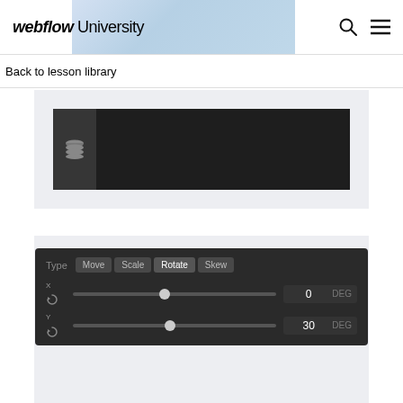webflow University
Back to lesson library
[Figure (screenshot): Webflow designer interface showing a dark panel with a database/stack icon on the left sidebar and a dark content area on the right]
[Figure (screenshot): Webflow designer transform panel showing Type options: Move, Scale, Rotate (active), Skew tabs, with X rotation slider at 0 DEG and Y rotation slider at 30 DEG]